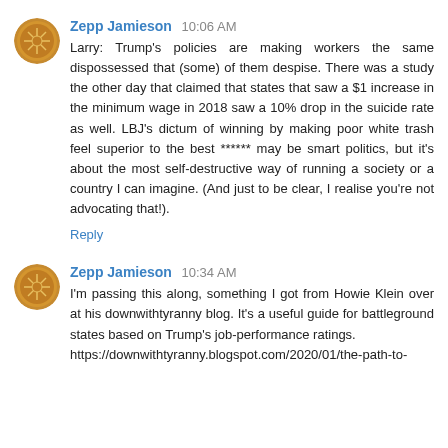Zepp Jamieson 10:06 AM
Larry: Trump's policies are making workers the same dispossessed that (some) of them despise. There was a study the other day that claimed that states that saw a $1 increase in the minimum wage in 2018 saw a 10% drop in the suicide rate as well. LBJ's dictum of winning by making poor white trash feel superior to the best ****** may be smart politics, but it's about the most self-destructive way of running a society or a country I can imagine. (And just to be clear, I realise you're not advocating that!).
Reply
Zepp Jamieson 10:34 AM
I'm passing this along, something I got from Howie Klein over at his downwithtyranny blog. It's a useful guide for battleground states based on Trump's job-performance ratings.
https://downwithtyranny.blogspot.com/2020/01/the-path-to-